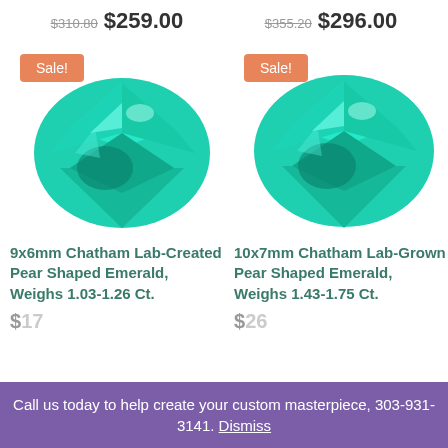$310.80 $259.00 | $355.20 $296.00
[Figure (photo): Two pear-shaped teal/emerald green gemstones side by side, each with a Sale! badge in orange]
9x6mm Chatham Lab-Created Pear Shaped Emerald, Weighs 1.03-1.26 Ct.
10x7mm Chatham Lab-Grown Pear Shaped Emerald, Weighs 1.43-1.75 Ct.
Call us today to help create your custom masterpiece, 303-931-3141. Dismiss